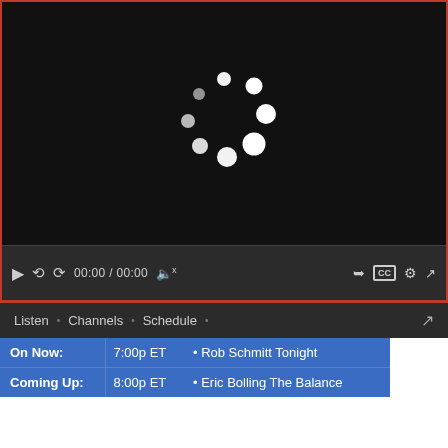[Figure (screenshot): Video player with black screen showing a loading spinner (circular dots), video controls bar showing play button, rewind, forward, time 00:00 / 00:00, mute button, share, CC, settings, and fullscreen icons.]
| On Now: | 7:00p ET | • Rob Schmitt Tonight |
| Coming Up: | 8:00p ET | • Eric Bolling The Balance |
TRENDING
[Figure (photo): Partial photo of a person behind bars or a gate, trending news image.]